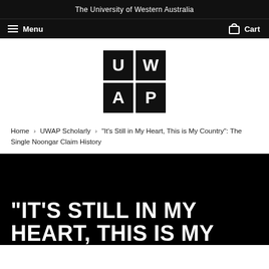The University of Western Australia
Menu  Cart
[Figure (logo): UWAP logo: four black squares in a 2x2 grid with letters U, W, A, P in white]
Home  ›  UWAP Scholarly  ›  "It's Still in My Heart, This is My Country": The Single Noongar Claim History
[Figure (photo): Book cover with black background and large white bold text reading "IT'S STILL IN MY HEART, THIS IS MY" (truncated)]